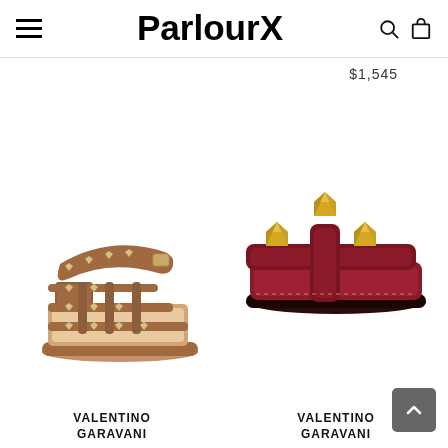ParlourX
$1,545
[Figure (photo): Valentino Garavani tan leather Rockstud block heel sandal with ankle strap and gold studs]
[Figure (photo): Valentino Garavani dark red/burgundy Rockstud flat slide sandal with large gold pyramid studs]
VALENTINO GARAVANI
VALENTINO GARAVANI